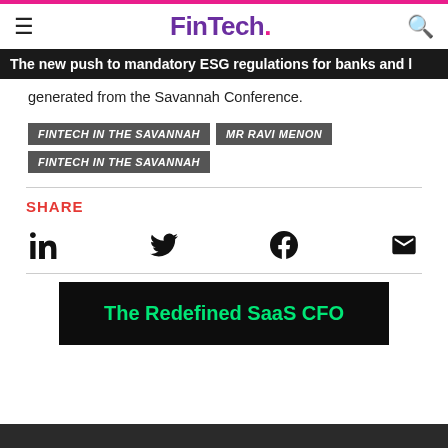FinTech.
The new push to mandatory ESG regulations for banks and generated from the Savannah Conference.
FINTECH IN THE SAVANNAH
MR RAVI MENON
FINTECH IN THE SAVANNAH
SHARE
[Figure (infographic): Social share icons: LinkedIn, Twitter, Facebook, Email]
[Figure (infographic): Advertisement banner: The Redefined SaaS CFO in green text on black background]